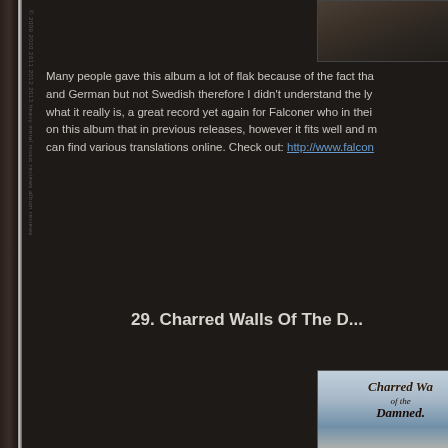[Figure (photo): Album cover photo partially visible at top right, dark toned image]
Many people gave this album a lot of flak because of the fact tha... and German but not Swedish therefore I didn't understand the ly... what it really is, a great record yet again for Falconer who in thei... on this album that in previous releases, however it fits well and m... can find various translations online. Check out: http://www.falcon...
29. Charred Walls Of The D...
[Figure (photo): Album cover for Charred Walls of the Damned, showing gothic lettering text 'Charred Walls of the Damned' over a blue/icy fantasy artwork background]